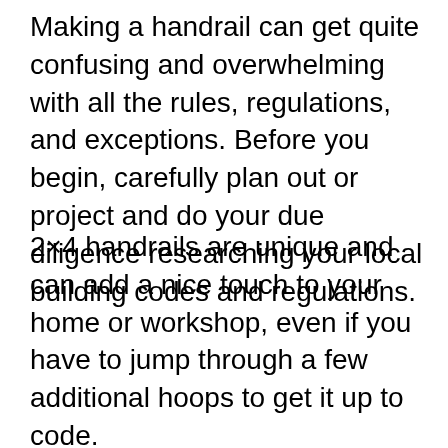Making a handrail can get quite confusing and overwhelming with all the rules, regulations, and exceptions. Before you begin, carefully plan out or project and do your due diligence researching your local building codes and regulations.
2×4 handrails are unique and can add a nice touch to your home or workshop, even if you have to jump through a few additional hoops to get it up to code.
It's much better to spend a few extra days researching and making sure you're doing everything up to code than building the thing...
[Figure (screenshot): Video error overlay saying 'No compatible source was found for this' with a close button, partially overlapping the third paragraph.]
[Figure (screenshot): Advertisement banner for Official NFL Gear with logo, title 'Official NFL Gear', subtitle 'Get Your Favorite Team's Gear Here', URL 'www.nflshop.com', blue arrow button, and close X button.]